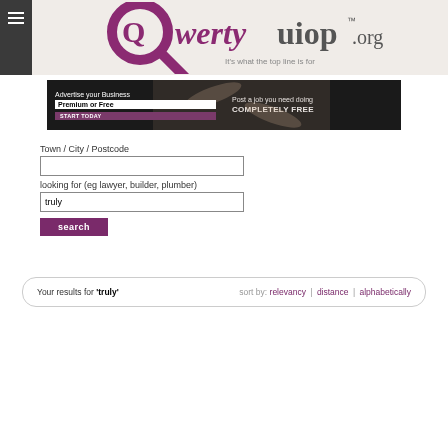[Figure (logo): Qwertyuiop.org logo with magnifying glass and tagline 'It's what the top line is for']
[Figure (infographic): Banner: Advertise your Business Premium or Free START TODAY | Post a job you need doing COMPLETELY FREE]
Town / City / Postcode
looking for (eg lawyer, builder, plumber)
truly
search
Your results for 'truly'   sort by: relevancy | distance | alphabetically